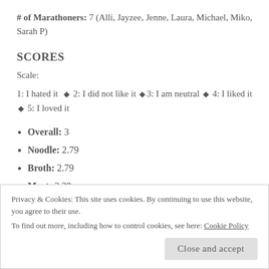# of Marathoners: 7 (Alli, Jayzee, Jenne, Laura, Michael, Miko, Sarah P)
SCORES
Scale:
1: I hated it ♦ 2: I did not like it ♦ 3: I am neutral ♦ 4: I liked it ♦ 5: I loved it
Overall: 3
Noodle: 2.79
Broth: 2.79
Meat: 3.29
Privacy & Cookies: This site uses cookies. By continuing to use this website, you agree to their use. To find out more, including how to control cookies, see here: Cookie Policy
Close and accept